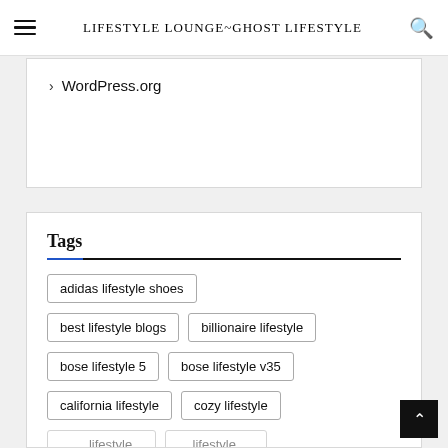LIFESTYLE LOUNGE~GHOST LIFESTYLE
> WordPress.org
Tags
adidas lifestyle shoes
best lifestyle blogs
billionaire lifestyle
bose lifestyle 5
bose lifestyle v35
california lifestyle
cozy lifestyle